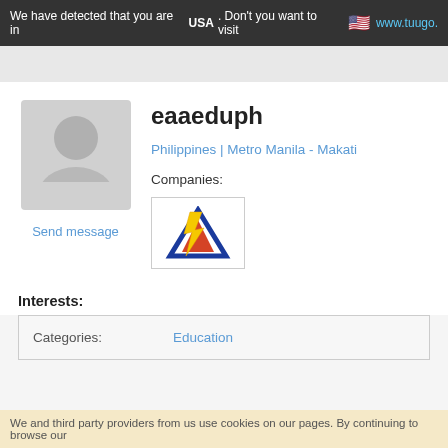We have detected that you are in USA. Don't you want to visit www.tuugo.
eaaeduph
Philippines | Metro Manila - Makati
Companies:
[Figure (logo): Company logo with letter A in blue and red with yellow lightning bolt]
Send message
Interests:
| Categories: | Education |
| --- | --- |
We and third party providers from us use cookies on our pages. By continuing to browse our